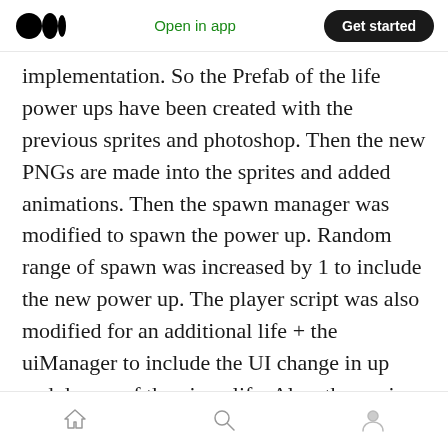Open in app  Get started
implementation. So the Prefab of the life power ups have been created with the previous sprites and photoshop. Then the new PNGs are made into the sprites and added animations. Then the spawn manager was modified to spawn the power up. Random range of spawn was increased by 1 to include the new power up. The player script was also modified for an additional life + the uiManager to include the UI change in up and downs of the given life. Also, the engine failure prefabs should also be changed depending on the lives available. You can't have two engines on fire when you still have 3 max lives.
Home  Search  Profile